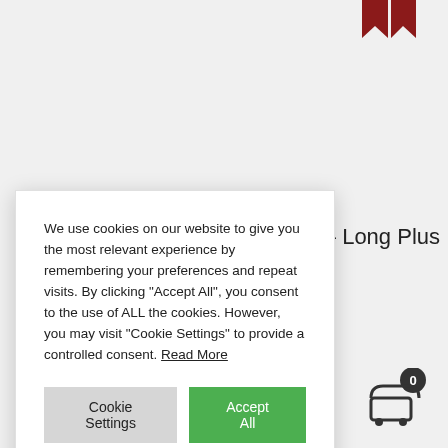[Figure (logo): Dark red bookmark/ribbon icon in top right corner]
k – Long Plus
We use cookies on our website to give you the most relevant experience by remembering your preferences and repeat visits. By clicking "Accept All", you consent to the use of ALL the cookies. However, you may visit "Cookie Settings" to provide a controlled consent. Read More
Cookie Settings
Accept All
[Figure (illustration): Shopping cart icon with badge showing 0]